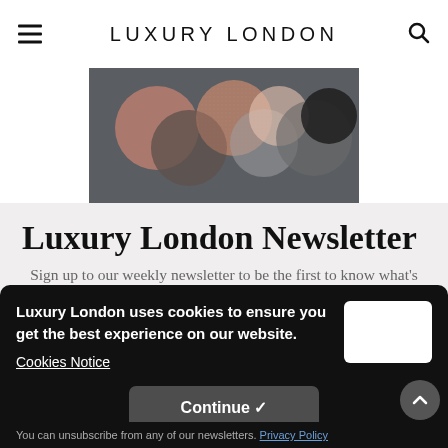LUXURY LONDON
[Figure (illustration): Abstract geometric circles in muted colors (rose, gray, black, salmon) on a dark gray background]
Luxury London Newsletter
Sign up to our weekly newsletter to be the first to know what's on in London.
Luxury London uses cookies to ensure you get the best experience on our website.
Cookies Notice
Continue ✓
You can unsubscribe from any of our newsletters.
Privacy Policy